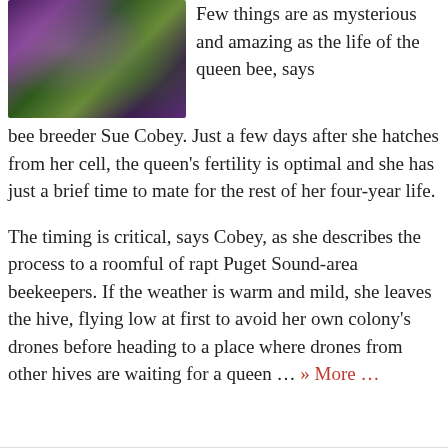[Figure (photo): Close-up photo of a plant with deep purple and green leaves, possibly kale or a flowering plant, with blurred green background.]
Few things are as mysterious and amazing as the life of the queen bee, says bee breeder Sue Cobey. Just a few days after she hatches from her cell, the queen's fertility is optimal and she has just a brief time to mate for the rest of her four-year life.
The timing is critical, says Cobey, as she describes the process to a roomful of rapt Puget Sound-area beekeepers. If the weather is warm and mild, she leaves the hive, flying low at first to avoid her own colony's drones before heading to a place where drones from other hives are waiting for a queen … » More …